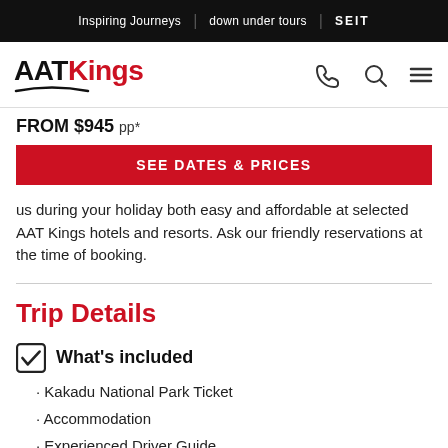Inspiring Journeys | down under tours | SEIT
[Figure (logo): AAT Kings logo with red 'Kings' text and black swoosh underline]
FROM $945 pp*
SEE DATES & PRICES
us during your holiday both easy and affordable at selected AAT Kings hotels and resorts. Ask our friendly reservations at the time of booking.
Trip Details
What's included
Kakadu National Park Ticket
Accommodation
Experienced Driver Guide
Comprehensive commentary